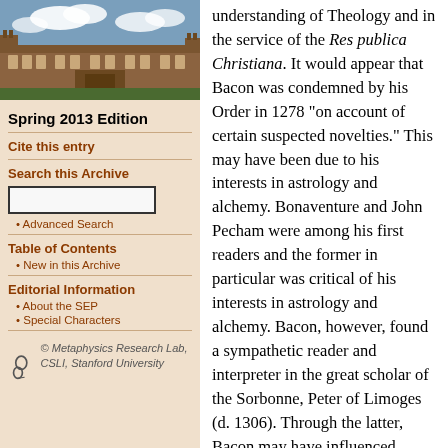[Figure (photo): Aerial/exterior photo of a historic stone university building with courtyards under a partly cloudy sky]
Spring 2013 Edition
Cite this entry
Search this Archive
Advanced Search
Table of Contents
New in this Archive
Editorial Information
About the SEP
Special Characters
[Figure (logo): Metaphysics Research Lab, CSLI, Stanford University logo with stylized figure-8 icon]
understanding of Theology and in the service of the Res publica Christiana. It would appear that Bacon was condemned by his Order in 1278 “on account of certain suspected novelties.” This may have been due to his interests in astrology and alchemy. Bonaventure and John Pecham were among his first readers and the former in particular was critical of his interests in astrology and alchemy. Bacon, however, found a sympathetic reader and interpreter in the great scholar of the Sorbonne, Peter of Limoges (d. 1306). Through the latter, Bacon may have influenced Raymond Lull.